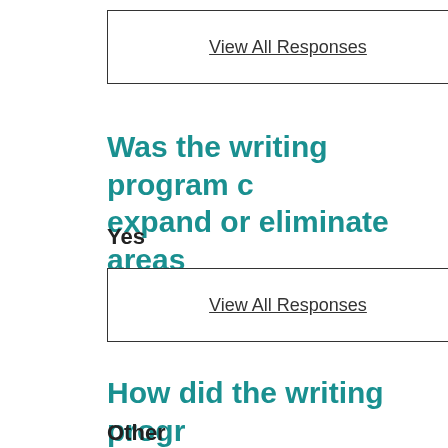View All Responses
Was the writing program c... expand or eliminate areas...
Yes
View All Responses
How did the writing progr...
Other